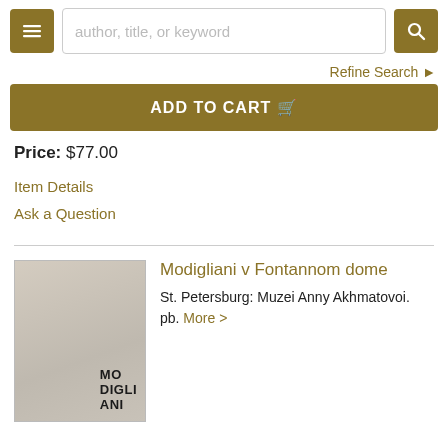author, title, or keyword — search bar with menu and search buttons
Refine Search
ADD TO CART
Price: $77.00
Item Details
Ask a Question
[Figure (photo): Book cover of Modigliani, beige/tan cover with bold black stacked text reading MO DIGLI ANI]
Modigliani v Fontannom dome
St. Petersburg: Muzei Anny Akhmatovoi. pb. More >